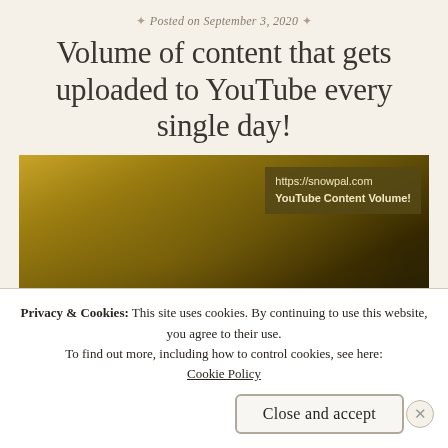Posted on September 3, 2020
Volume of content that gets uploaded to YouTube every single day!
[Figure (photo): Thumbnail image with warm golden/sepia tones showing a misty or hazy landscape scene. Overlay text reads: https://snowpal.com / YouTube Content Volume!]
Privacy & Cookies: This site uses cookies. By continuing to use this website, you agree to their use.
To find out more, including how to control cookies, see here: Cookie Policy
Close and accept